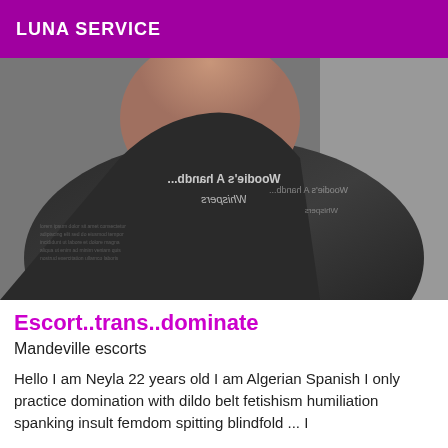LUNA SERVICE
[Figure (photo): Close-up photo of a person wearing a dark grey/black top with text print. The text on the shirt appears mirrored/reversed showing 'Woodie's A handb...' and 'Whispers' branding. The upper chest/neck area is visible.]
Escort..trans..dominate
Mandeville escorts
Hello I am Neyla 22 years old I am Algerian Spanish I only practice domination with dildo belt fetishism humiliation spanking insult femdom spitting blindfold ... I